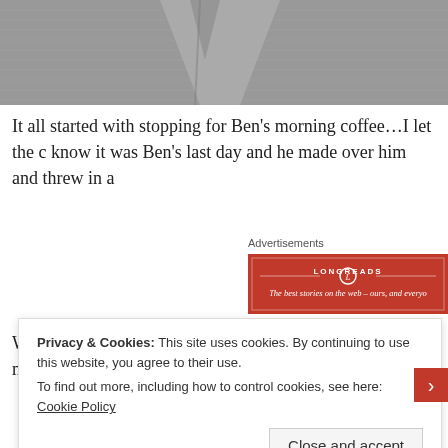[Figure (photo): Close-up photo of fabric or clothing with a textured, woven pattern, partially cropped at top of page.]
It all started with stopping for Ben's morning coffee…I let the c know it was Ben's last day and he made over him and threw in a
Advertisements
[Figure (other): Longreads advertisement banner with red background. Text reads: LONGREADS — The best stories on the web – ours, and everyo...]
When we were leaving the neighborhood my neighbors'children made Ben smile.
Privacy & Cookies: This site uses cookies. By continuing to use this website, you agree to their use.
To find out more, including how to control cookies, see here: Cookie Policy
Close and accept